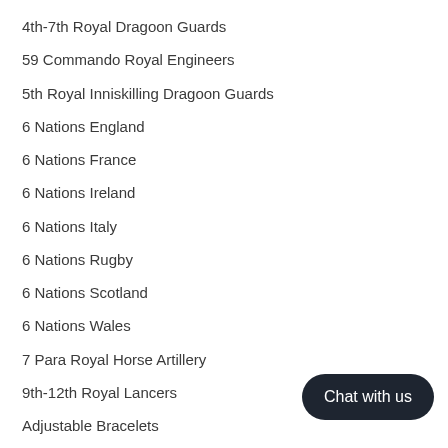4th-7th Royal Dragoon Guards
59 Commando Royal Engineers
5th Royal Inniskilling Dragoon Guards
6 Nations England
6 Nations France
6 Nations Ireland
6 Nations Italy
6 Nations Rugby
6 Nations Scotland
6 Nations Wales
7 Para Royal Horse Artillery
9th-12th Royal Lancers
Adjustable Bracelets
Adjutant General Corps
Adjutant General's Corps